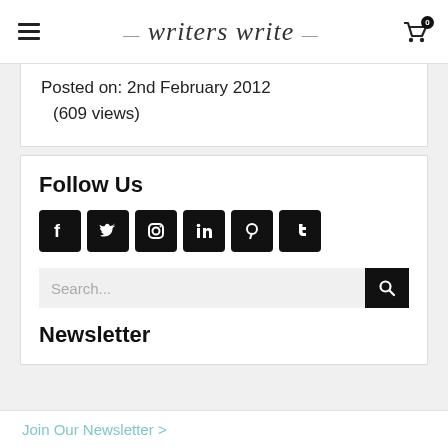writers write
Posted on: 2nd February 2012
(609 views)
Follow Us
[Figure (other): Social media icons row: Facebook, Twitter, Instagram, LinkedIn, Pinterest, Tumblr]
[Figure (other): Search bar with search button]
Newsletter
Join Our Newsletter >